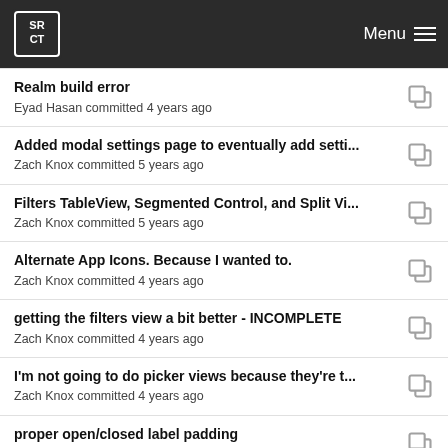SRCT | Menu
Realm build error
Eyad Hasan committed 4 years ago
Added modal settings page to eventually add setti...
Zach Knox committed 5 years ago
Filters TableView, Segmented Control, and Split Vi...
Zach Knox committed 5 years ago
Alternate App Icons. Because I wanted to.
Zach Knox committed 4 years ago
getting the filters view a bit better - INCOMPLETE
Zach Knox committed 4 years ago
I'm not going to do picker views because they're t...
Zach Knox committed 4 years ago
proper open/closed label padding
Zach Knox committed 4 years ago
Acknowledgements, Fixed Mail compose sheet (Cl...
Zach Knox committed 4 years ago